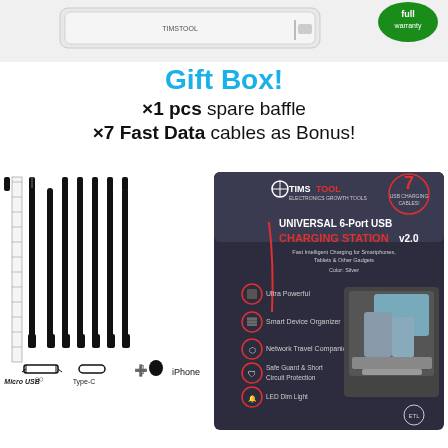[Figure (photo): Top portion showing a white device (charging station) with a warranty badge visible top right]
Gift Box!
x1 pcs spare baffle
x7 Fast Data cables as Bonus!
[Figure (photo): Seven USB data cables arranged side by side with a ruler on the left, and connector icons below: Micro USB, Type-C, iPhone]
[Figure (photo): Product box for TIMSTOOL Universal 6-Port USB Charging Station v2.0, showing product features and charging station image]